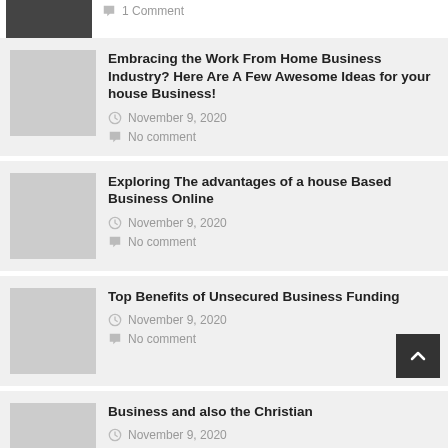1 Comment
Embracing the Work From Home Business Industry? Here Are A Few Awesome Ideas for your house Business!
November 9, 2020
No comment
Exploring The advantages of a house Based Business Online
November 9, 2020
No comment
Top Benefits of Unsecured Business Funding
November 9, 2020
No comment
Business and also the Christian
November 9, 2020
No comment